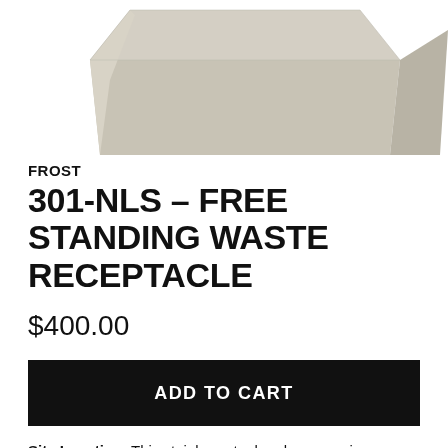[Figure (photo): Partial top-down view of a beige/tan stainless steel waste receptacle, showing the top and upper sides of the product against a white background.]
FROST
301-NLS – FREE STANDING WASTE RECEPTACLE
$400.00
ADD TO CART
Site Location: This stainless steel garbage can is intended for areas where durability is required.